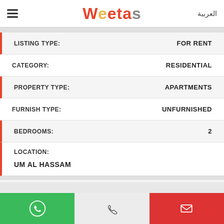Weetas | العربية
| Field | Value |
| --- | --- |
| LISTING TYPE: | FOR RENT |
| CATEGORY: | RESIDENTIAL |
| PROPERTY TYPE: | APARTMENTS |
| FURNISH TYPE: | UNFURNISHED |
| BEDROOMS: | 2 |
| LOCATION: | UM AL HASSAM |